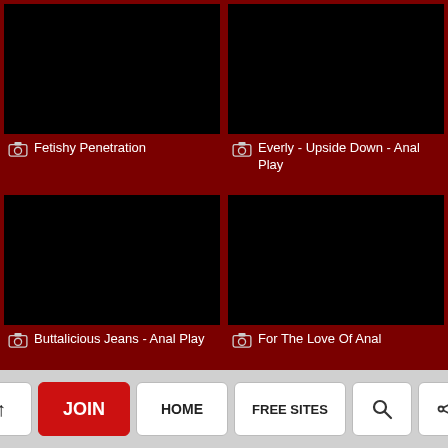[Figure (screenshot): Black thumbnail image for Fetishy Penetration]
Fetishy Penetration
[Figure (screenshot): Black thumbnail image for Everly - Upside Down - Anal Play]
Everly - Upside Down - Anal Play
[Figure (screenshot): Black thumbnail image for Buttalicious Jeans - Anal Play]
Buttalicious Jeans - Anal Play
[Figure (screenshot): Black thumbnail image for For The Love Of Anal]
For The Love Of Anal
^ | JOIN | HOME | FREE SITES | [search] | [share]